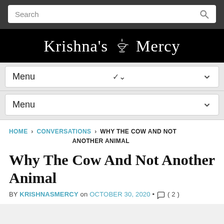Search
Krishna's Mercy
Menu
Menu
HOME › CONVERSATIONS › WHY THE COW AND NOT ANOTHER ANIMAL
Why The Cow And Not Another Animal
BY KRISHNASMERCY on OCTOBER 30, 2020 · ( 2 )